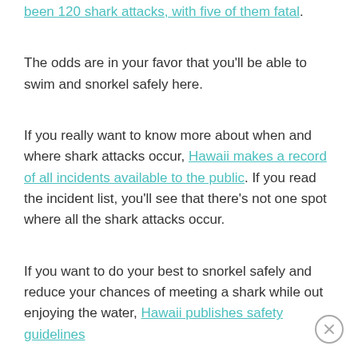been 120 shark attacks, with five of them fatal.
The odds are in your favor that you'll be able to swim and snorkel safely here.
If you really want to know more about when and where shark attacks occur, Hawaii makes a record of all incidents available to the public. If you read the incident list, you'll see that there's not one spot where all the shark attacks occur.
If you want to do your best to snorkel safely and reduce your chances of meeting a shark while out enjoying the water, Hawaii publishes safety guidelines